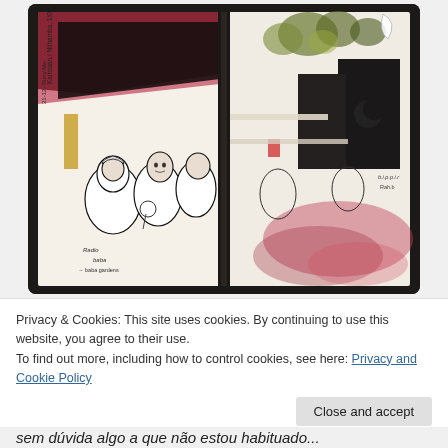[Figure (illustration): A watercolor and ink sketchbook spread showing a café scene. Left page: figures seated in the foreground with ink linework, a dark awning with red/maroon wash above. Handwritten text on the left margin. Right page: more figures, foliage and plants, a building with a crescent moon sign, deep red/maroon watercolor washes at the bottom. Dark black covers frame the sketchbook.]
Privacy & Cookies: This site uses cookies. By continuing to use this website, you agree to their use.
To find out more, including how to control cookies, see here: Privacy and Cookie Policy
Close and accept
sem dúvida algo a que não estou habituado...